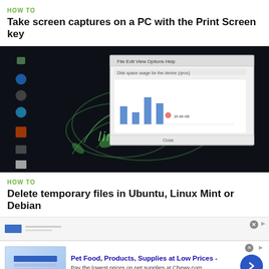HOW TO
Take screen captures on a PC with the Print Screen key
[Figure (screenshot): Linux Mint desktop screenshot with a dialog window open]
HOW TO
Delete temporary files in Ubuntu, Linux Mint or Debian
[Figure (screenshot): Partial screenshot of another article]
Pet Food, Products, Supplies at Low Prices - Pay the lowest prices on pet supplies at Chewy.com chewy.com